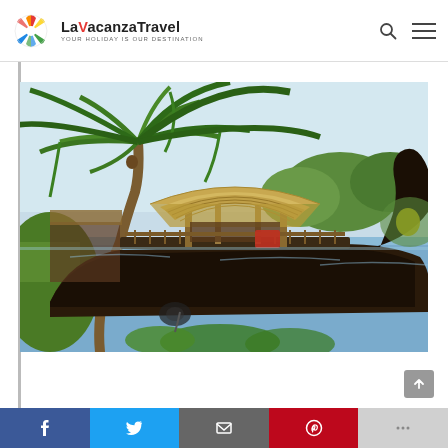[Figure (logo): LaVacanza Travel logo with colorful pinwheel icon and tagline YOUR HOLIDAY IS OUR DESTINATION]
[Figure (photo): Traditional Kerala houseboat with thatched roof moored near palm trees along a backwater canal, lush green vegetation and calm water in background]
[Figure (infographic): Social media sharing bar with Facebook (blue), Twitter (light blue), Email (dark gray), Pinterest (red), and More buttons at bottom of page]